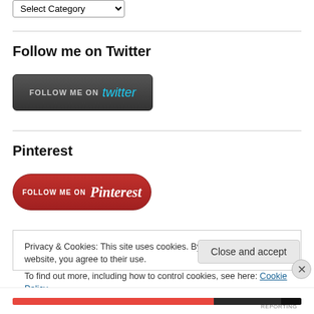Select Category
Follow me on Twitter
[Figure (screenshot): Dark grey button with text FOLLOW ME ON twitter]
Pinterest
[Figure (screenshot): Red rounded button with text FOLLOW ME ON Pinterest]
Privacy & Cookies: This site uses cookies. By continuing to use this website, you agree to their use.
To find out more, including how to control cookies, see here: Cookie Policy
Close and accept